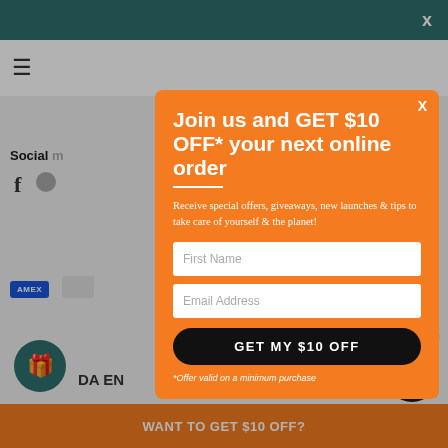[Figure (screenshot): Background website page with teal top bar, navigation bar with hamburger menu and cart/search icons, social media section with Facebook icon, payment badges (AMEX, D Pay), gift circle button, and chat bubble.]
Join us and GET $10 OFF* your next online order
Receive special offers, giveaways, new launches & tips to take care of yourself & the planet!
First Name
Email Address
GET MY $10 OFF
*Offer valid on a minimum purchase
WANT TO GET $10 OFF?